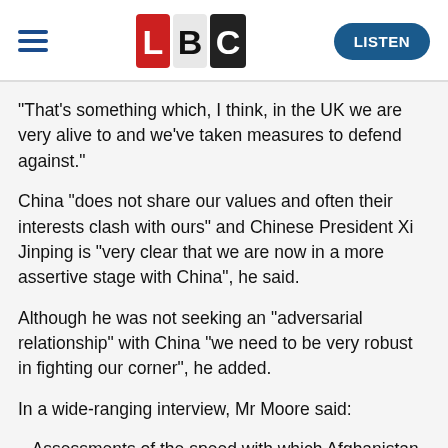LBC — LISTEN
“That’s something which, I think, in the UK we are very alive to and we’ve taken measures to defend against.”
China “does not share our values and often their interests clash with ours” and Chinese President Xi Jinping is “very clear that we are now in a more assertive stage with China”, he said.
Although he was not seeking an “adversarial relationship” with China “we need to be very robust in fighting our corner”, he added.
In a wide-ranging interview, Mr Moore said:
– Assessments of the speed with which Afghanistan would be taken by the Taliban were “clearly wrong” but it was “overblown to describe it in terms of intelligence failure”